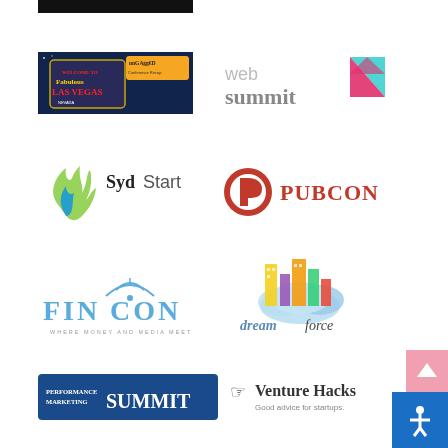[Figure (logo): Black bar at top]
[Figure (logo): UnGagged Conference Recap - Las Vegas sign photo with UnGagged text overlay]
[Figure (logo): Web Summit logo - grey text with pink and teal triangle]
[Figure (logo): SydStart logo - blue/green flame icon with SydStart text]
[Figure (logo): PUBCON logo - red circle P icon with PUBCON text in red]
[Figure (logo): FINCON logo - blue text WHERE MONEY AND MEDIA MEET]
[Figure (logo): Dreamforce logo - colorful city/cloud illustration with dreamforce text]
[Figure (logo): Performance Marketing Summit - blue banner logo]
[Figure (logo): Venture Hacks - Good advice for startups]
[Figure (other): Scroll to top button - pink with up arrow]
[Figure (other): Accessibility button - blue with person icon]